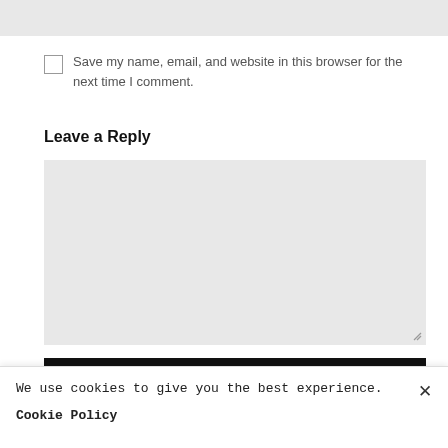[Figure (screenshot): Top gray input bar (partial text field)]
Save my name, email, and website in this browser for the next time I comment.
Leave a Reply
[Figure (screenshot): Large light gray comment textarea with resize handle]
Post Comment
We use cookies to give you the best experience.
Cookie Policy